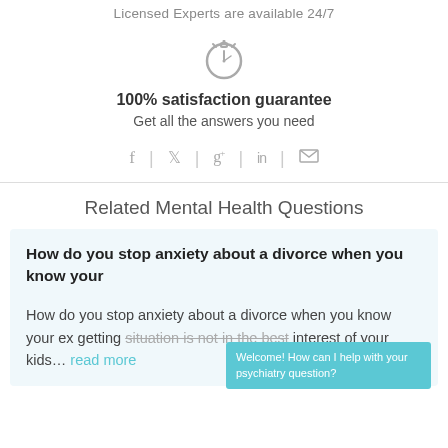Licensed Experts are available 24/7
[Figure (illustration): Stopwatch icon in gray]
100% satisfaction guarantee
Get all the answers you need
[Figure (infographic): Social media icons: Facebook, Twitter, Google+, LinkedIn, Email separated by vertical dividers]
Related Mental Health Questions
How do you stop anxiety about a divorce when you know your
How do you stop anxiety about a divorce when you know your ex getting situation is not in the best interest of your kids... read more
Welcome! How can I help with your psychiatry question?